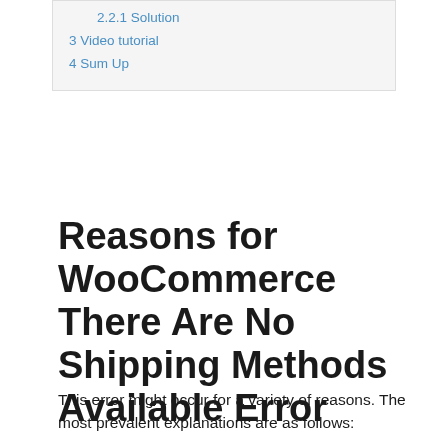2.2.1 Solution
3 Video tutorial
4 Sum Up
Reasons for WooCommerce There Are No Shipping Methods Available Error
This error might occur for a variety of reasons. The most prevalent explanations are as follows: